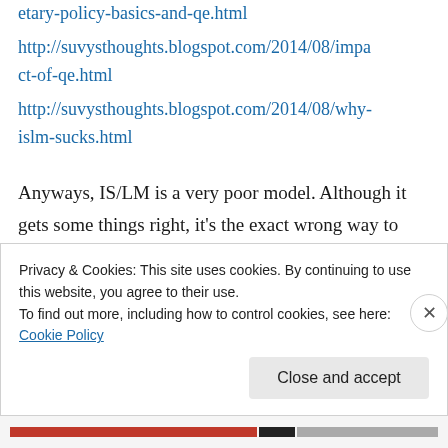etary-policy-basics-and-qe.html
http://suvysthoughts.blogspot.com/2014/08/impact-of-qe.html
http://suvysthoughts.blogspot.com/2014/08/why-islm-sucks.html
Anyways, IS/LM is a very poor model. Although it gets some things right, it's the exact wrong way to look at, and think about, monetary policy. I'd like to get your take on my view of things. Your blog is really cool BTW.
Privacy & Cookies: This site uses cookies. By continuing to use this website, you agree to their use.
To find out more, including how to control cookies, see here: Cookie Policy